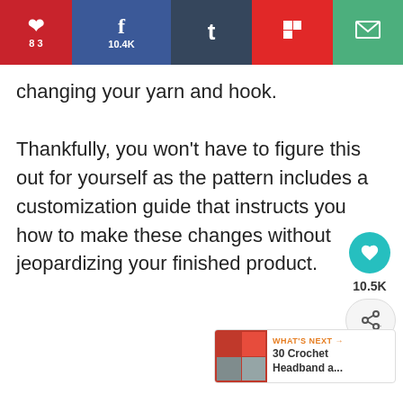[Figure (screenshot): Social sharing toolbar with Pinterest (83), Facebook (10.4K), Tumblr, Flipboard, and Email buttons]
changing your yarn and hook.
Thankfully, you won't have to figure this out for yourself as the pattern includes a customization guide that instructs you how to make these changes without jeopardizing your finished product.
[Figure (infographic): Floating heart/like button with 10.5K count and share button]
[Figure (screenshot): What's Next widget: 30 Crochet Headband a...]